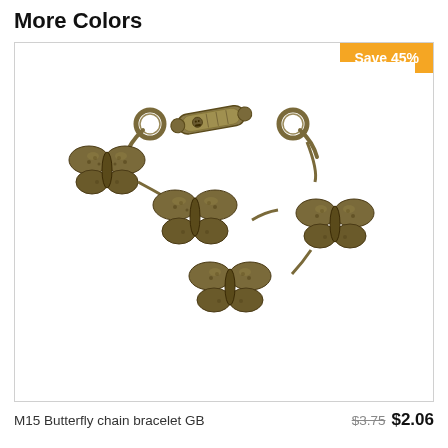More Colors
[Figure (photo): Antique gold-tone butterfly chain bracelet with toggle clasp, featuring multiple linked butterfly charms with textured marcasite-style detailing. Product shows 'Save 45%' badge in orange.]
M15 Butterfly chain bracelet GB
$3.75 $2.06